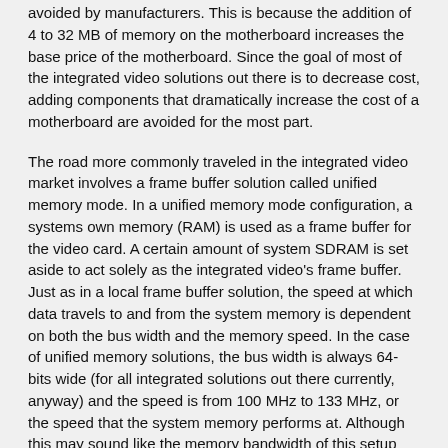avoided by manufacturers. This is because the addition of 4 to 32 MB of memory on the motherboard increases the base price of the motherboard. Since the goal of most of the integrated video solutions out there is to decrease cost, adding components that dramatically increase the cost of a motherboard are avoided for the most part.
The road more commonly traveled in the integrated video market involves a frame buffer solution called unified memory mode. In a unified memory mode configuration, a systems own memory (RAM) is used as a frame buffer for the video card. A certain amount of system SDRAM is set aside to act solely as the integrated video's frame buffer. Just as in a local frame buffer solution, the speed at which data travels to and from the system memory is dependent on both the bus width and the memory speed. In the case of unified memory solutions, the bus width is always 64-bits wide (for all integrated solutions out there currently, anyway) and the speed is from 100 MHz to 133 MHz, or the speed that the system memory performs at. Although this may sound like the memory bandwidth of this setup would be similar to the memory bandwidth of a local frame buffer solution (since both have a 64-bit bus and typically 133 MHz memory), the memory